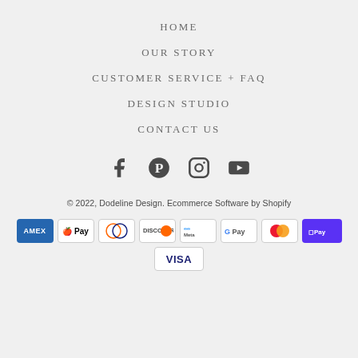HOME
OUR STORY
CUSTOMER SERVICE + FAQ
DESIGN STUDIO
CONTACT US
[Figure (infographic): Social media icons: Facebook, Pinterest, Instagram, YouTube]
© 2022, Dodeline Design. Ecommerce Software by Shopify
[Figure (infographic): Payment method logos: American Express, Apple Pay, Diners Club, Discover, Meta Pay, Google Pay, Mastercard, Shop Pay, Visa]